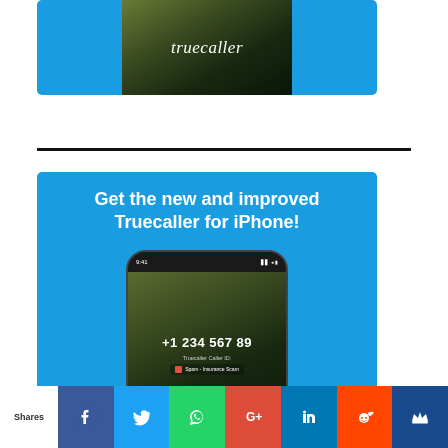[Figure (screenshot): Truecaller app splash screen on iPhone showing dark background with Truecaller logo in white italic text, surrounded by blue background]
[Figure (screenshot): Truecaller promotional banner with blue background showing text 'Get the new and improved Truecaller for iPhone!' and a phone mockup displaying caller ID +1 234 567 89 labeled as Spam - Insurance Scam, with Truecaller logo at the bottom]
Shares
[Figure (infographic): Social share bar with Facebook, Twitter, WhatsApp, Google+, LinkedIn, Reddit, and crown/king icon buttons]